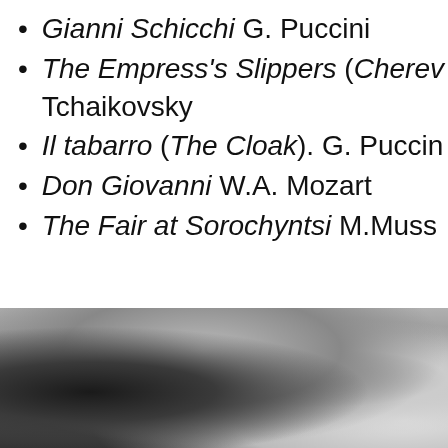Gianni Schicchi G. Puccini
The Empress's Slippers (Cherev… Tchaikovsky
Il tabarro (The Cloak). G. Puccin…
Don Giovanni W.A. Mozart
The Fair at Sorochyntsi M.Muss…
[Figure (photo): Black and white photograph of a person, partially visible at bottom of page]